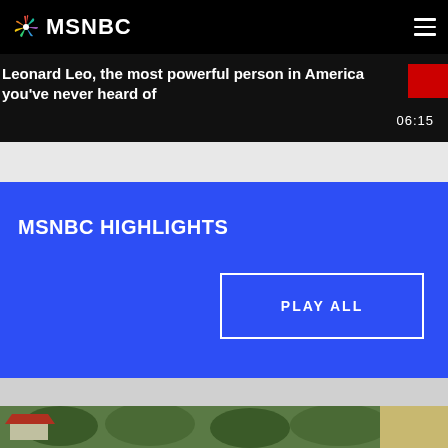MSNBC
Leonard Leo, the most powerful person in America you've never heard of
06:15
MSNBC HIGHLIGHTS
PLAY ALL
[Figure (photo): Aerial view of a property with red roof building surrounded by trees and fields]